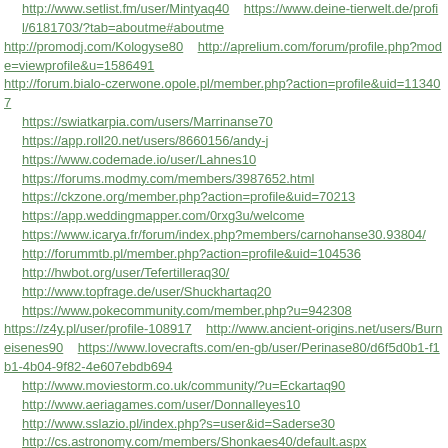http://www.setlist.fm/user/Mintyaq40
https://www.deine-tierwelt.de/profil/6181703/?tab=aboutme#aboutme
http://promodj.com/Kologyse80
http://aprelium.com/forum/profile.php?mode=viewprofile&u=1586491
http://forum.bialo-czerwone.opole.pl/member.php?action=profile&uid=113407
https://swiatkarpia.com/users/Marrinanse70
https://app.roll20.net/users/8660156/andy-j
https://www.codemade.io/user/Lahnes10
https://forums.modmy.com/members/3987652.html
https://ckzone.org/member.php?action=profile&uid=70213
https://app.weddingmapper.com/0rxg3u/welcome
https://www.icarya.fr/forum/index.php?members/carnohanse30.93804/
http://forummtb.pl/member.php?action=profile&uid=104536
http://hwbot.org/user/Tefertilleraq30/
http://www.topfrage.de/user/Shuckhartaq20
https://www.pokecommunity.com/member.php?u=942308
https://z4y.pl/user/profile-108917
http://www.ancient-origins.net/users/Burneisenes90
https://www.lovecrafts.com/en-gb/user/Perinase80/d6f5d0b1-f1b1-4b04-9f82-4e607ebdb694
http://www.moviestorm.co.uk/community/?u=Eckartaq90
http://www.aeriagames.com/user/Donnalleyes10
http://www.sslazio.pl/index.php?s=user&id=Saderse30
http://cs.astronomy.com/members/Shonkaes40/default.aspx
https://hackerone.com/Modenaaq80
http://www.topfrage.de/user/Selis
http://www.divephotoguide.com/user/Bowes30
https://www.bme.com/iam/Donnalleyse60
https://www.zintro.com/profile/zidc87d179
http://www.moviestorm.co.uk/community/?u=Whatonameaq70
https://pickaface.net/user/39132932/raczkase20.html
https://www.zing.cz/forum/profile/Brumes90/
http://www.nasza-